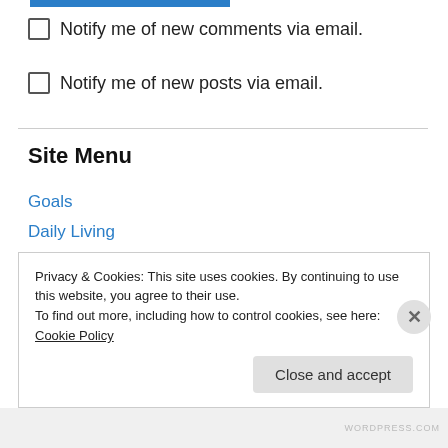Notify me of new comments via email.
Notify me of new posts via email.
Site Menu
Goals
Daily Living
Chronic Pain
Health
Food
Privacy & Cookies: This site uses cookies. By continuing to use this website, you agree to their use. To find out more, including how to control cookies, see here: Cookie Policy
Close and accept